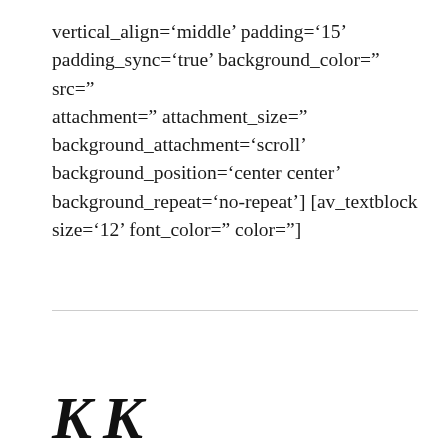vertical_align='middle' padding='15' padding_sync='true' background_color='' src='' attachment='' attachment_size='' background_attachment='scroll' background_position='center center' background_repeat='no-repeat'] [av_textblock size='12' font_color='' color='']